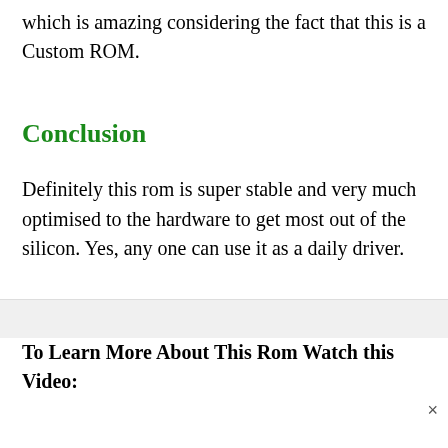which is amazing considering the fact that this is a Custom ROM.
Conclusion
Definitely this rom is super stable and very much optimised to the hardware to get most out of the silicon. Yes, any one can use it as a daily driver.
To Learn More About This Rom Watch this Video: